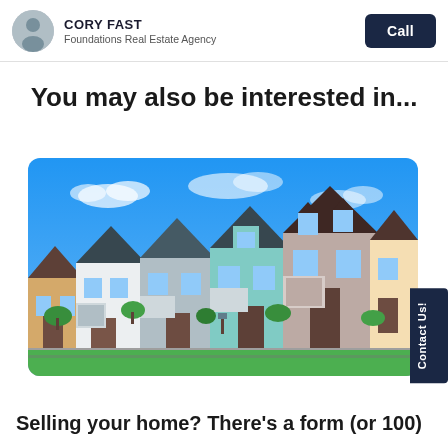CORY FAST — Foundations Real Estate Agency — Call
You may also be interested in...
[Figure (photo): Suburban neighborhood street with a row of two-story homes under a blue sky]
Contact Us!
Selling your home? There's a form (or 100)